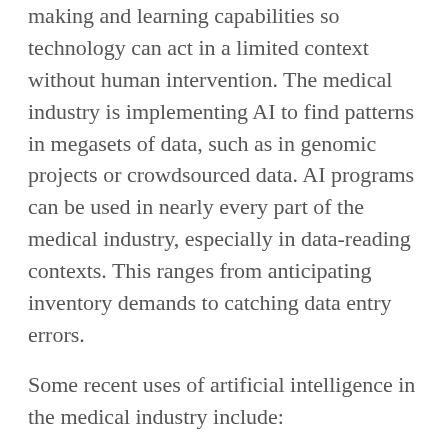making and learning capabilities so technology can act in a limited context without human intervention. The medical industry is implementing AI to find patterns in megasets of data, such as in genomic projects or crowdsourced data. AI programs can be used in nearly every part of the medical industry, especially in data-reading contexts. This ranges from anticipating inventory demands to catching data entry errors.
Some recent uses of artificial intelligence in the medical industry include:
Diagnostic assistants that convert raw, unstructured data (like images) into structured data
Drug discovery programs that can run virtual trials
Smart data entry assistants that can fill in patient